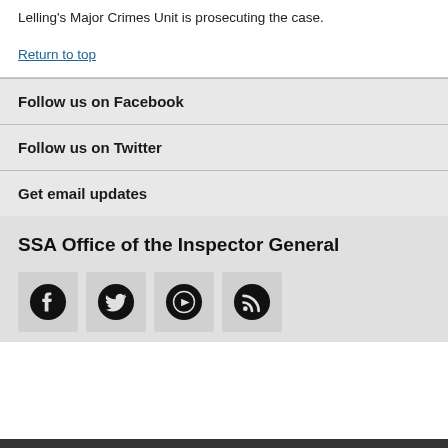Lelling's Major Crimes Unit is prosecuting the case.
Return to top
Follow us on Facebook
Follow us on Twitter
Get email updates
SSA Office of the Inspector General
[Figure (other): Row of four social media icon buttons: Facebook, Twitter, YouTube, RSS feed, each in a gray rounded square box with black icons.]